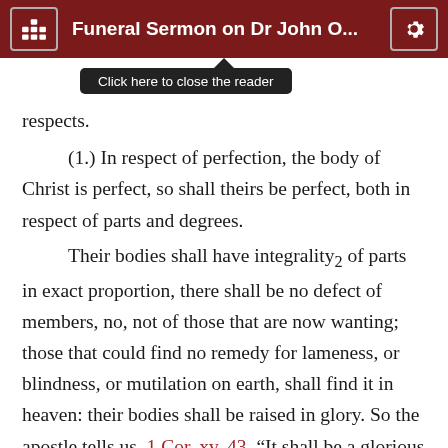Funeral Sermon on Dr John O...
respects.   Click here to close the reader
(1.) In respect of perfection, the body of Christ is perfect, so shall theirs be perfect, both in respect of parts and degrees.
Their bodies shall have integrality₂ of parts in exact proportion, there shall be no defect of members, no, not of those that are now wanting; those that could find no remedy for lameness, or blindness, or mutilation on earth, shall find it in heaven: their bodies shall be raised in glory. So the apostle tells us, 1 Cor. xv. 43, “It shall be a glorious body:” but it would not be so glorious if these imperfections and defects were not so removed, it